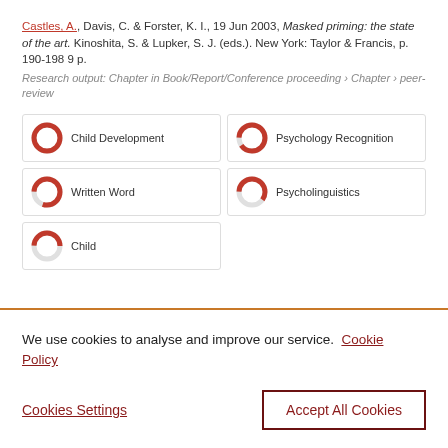Castles, A., Davis, C. & Forster, K. I., 19 Jun 2003, Masked priming: the state of the art. Kinoshita, S. & Lupker, S. J. (eds.). New York: Taylor & Francis, p. 190-198 9 p.
Research output: Chapter in Book/Report/Conference proceeding › Chapter › peer-review
[Figure (infographic): Five keyword badges arranged in a 2-column grid with donut-style percentage icons: Child Development (100%), Psychology Recognition (~90%), Written Word (~80%), Psycholinguistics (~60%), Child (~50%)]
We use cookies to analyse and improve our service. Cookie Policy
Cookies Settings
Accept All Cookies